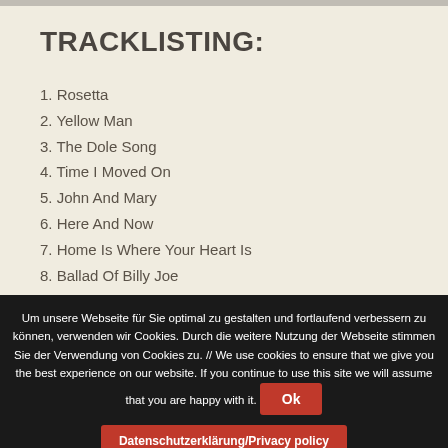TRACKLISTING:
1. Rosetta
2. Yellow Man
3. The Dole Song
4. Time I Moved On
5. John And Mary
6. Here And Now
7. Home Is Where Your Heart Is
8. Ballad Of Billy Joe
9. That' How Strong My Love Is
10. Blue Condition
Um unsere Webseite für Sie optimal zu gestalten und fortlaufend verbessern zu können, verwenden wir Cookies. Durch die weitere Nutzung der Webseite stimmen Sie der Verwendung von Cookies zu. // We use cookies to ensure that we give you the best experience on our website. If you continue to use this site we will assume that you are happy with it.
Ok
Datenschutzerklärung/Privacy policy